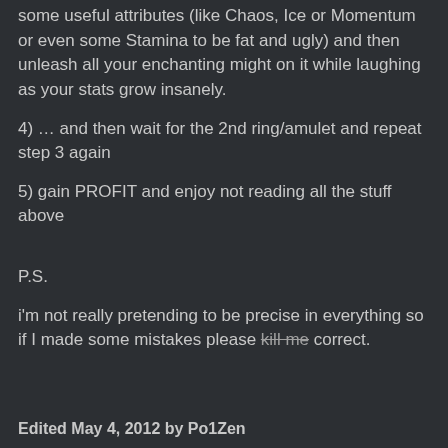some useful attributes (like Chaos, Ice or Momentum or even some Stamina to be fat and ugly) and then unleash all your enchanting might on it while laughing as your stats grow insanely.
4) … and then wait for the 2nd ring/amulet and repeat step 3 again
5) gain PROFIT and enjoy not reading all the stuff above
P.S.
i'm not really pretending to be precise in everything so if I made some mistakes please kill me correct.
Edited May 4, 2012 by Po1Zen